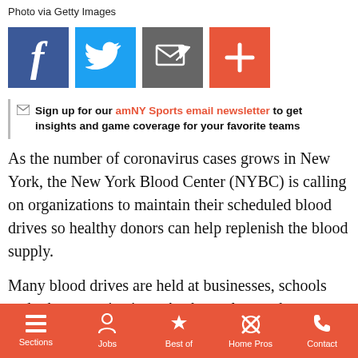Photo via Getty Images
[Figure (other): Social share buttons row: Facebook (blue), Twitter (light blue), Email/share (gray), Plus/more (orange-red)]
Sign up for our amNY Sports email newsletter to get insights and game coverage for your favorite teams
As the number of coronavirus cases grows in New York, the New York Blood Center (NYBC) is calling on organizations to maintain their scheduled blood drives so healthy donors can help replenish the blood supply.
Many blood drives are held at businesses, schools and other organizations. As these places take precautions against coronavirus, many are cancelling their scheduled bloo
Sections | Jobs | Best of | Home Pros | Contact